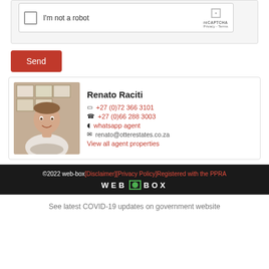[Figure (screenshot): reCAPTCHA widget with checkbox 'I'm not a robot' and reCAPTCHA branding with Privacy and Terms links]
Send
[Figure (photo): Photo of Renato Raciti, a man in a white shirt, smiling, standing in front of framed pictures on a wall]
Renato Raciti
+27 (0)72 366 3101
+27 (0)66 288 3003
whatsapp agent
renato@otterestates.co.za
View all agent properties
©2022 web-box[Disclaimer][Privacy Policy]Registered with the PPRA
WEB [ ] BOX
See latest COVID-19 updates on government website